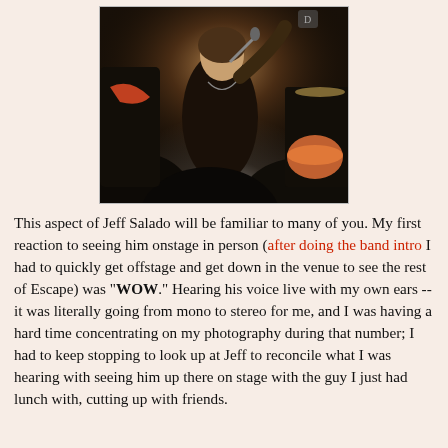[Figure (photo): A male rock vocalist performing on stage, holding a microphone up, mouth open singing, wearing a black jacket, with a guitarist visible on the left and a drummer in the background on the right. The crowd is visible in the foreground.]
This aspect of Jeff Salado will be familiar to many of you. My first reaction to seeing him onstage in person (after doing the band intro I had to quickly get offstage and get down in the venue to see the rest of Escape) was "WOW." Hearing his voice live with my own ears -- it was literally going from mono to stereo for me, and I was having a hard time concentrating on my photography during that number; I had to keep stopping to look up at Jeff to reconcile what I was hearing with seeing him up there on stage with the guy I just had lunch with, cutting up with friends.